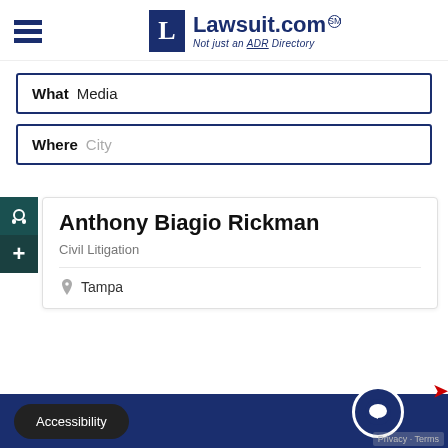[Figure (logo): Lawsuit.com logo with hamburger menu icon, blue L square, and tagline 'Not just an ADR Directory']
What   Media
Where   City
Anthony Biagio Rickman
Civil Litigation
Tampa
Accessibility   Privacy · Terms